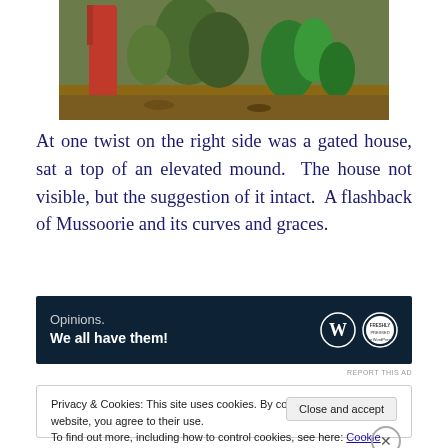[Figure (photo): Outdoor garden/nature scene showing a person in a red garment near green plants and trees on a dirt path]
At one twist on the right side was a gated house, sat a top of an elevated mound.  The house not visible, but the suggestion of it intact.  A flashback of Mussoorie and its curves and graces.
[Figure (other): Advertisement banner: 'Opinions. We all have them!' with WordPress and Freshly Pressed logos on dark background]
REPORT THIS AD
Privacy & Cookies: This site uses cookies. By continuing to use this website, you agree to their use.
To find out more, including how to control cookies, see here: Cookie Policy